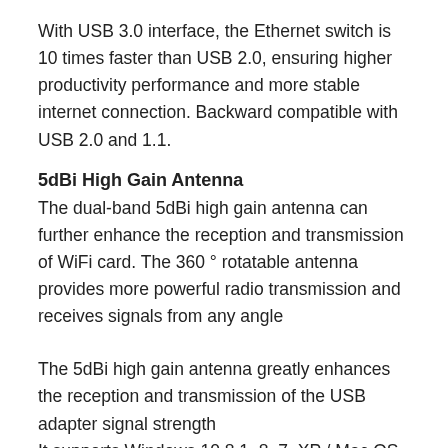With USB 3.0 interface, the Ethernet switch is 10 times faster than USB 2.0, ensuring higher productivity performance and more stable internet connection. Backward compatible with USB 2.0 and 1.1.
5dBi High Gain Antenna
The dual-band 5dBi high gain antenna can further enhance the reception and transmission of WiFi card. The 360 ° rotatable antenna provides more powerful radio transmission and receives signals from any angle
The 5dBi high gain antenna greatly enhances the reception and transmission of the USB adapter signal strength
It supports Windows 10 8.1, 8, 7, XP / Mac OS X 10. 9-10. 14, Driver installation may be required, please go to TP-Link website to get the latest driver for your operating systems.
It also includes a support 8 year warranty and free 24/7